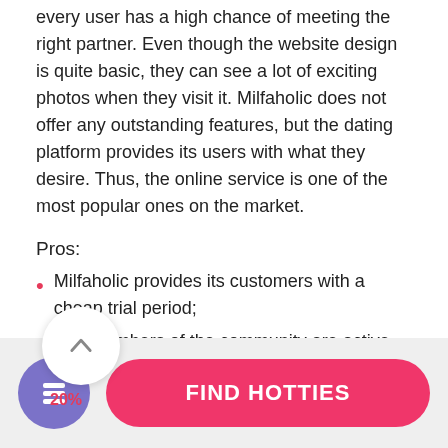every user has a high chance of meeting the right partner. Even though the website design is quite basic, they can see a lot of exciting photos when they visit it. Milfaholic does not offer any outstanding features, but the dating platform provides its users with what they desire. Thus, the online service is one of the most popular ones on the market.
Pros:
Milfaholic provides its customers with a cheap trial period;
The members of the community are active.
Cons:
[Figure (other): Scroll-back button overlay with upward chevron arrow, and 20% discount badge in red]
[Figure (other): Footer bar with purple circular icon button (document/list icon) and pink rounded CTA button labeled FIND HOTTIES]